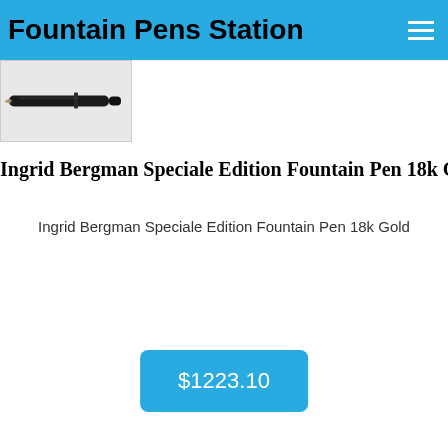Fountain Pens Station
[Figure (photo): A black fountain pen with gold nib shown diagonally on a light background]
Ingrid Bergman Speciale Edition Fountain Pen 18k Gold
Ingrid Bergman Speciale Edition Fountain Pen 18k Gold
$1223.10